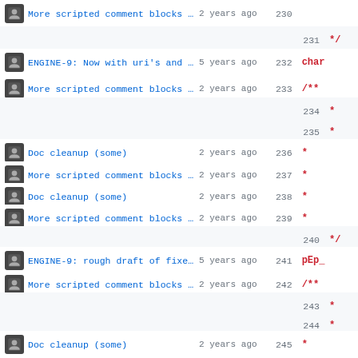[Figure (screenshot): Git blame view of source code file showing commit messages, authors (avatar icons), timestamps, line numbers, and code content for lines 230-251. Commits include 'More scripted comment blocks inj…', 'ENGINE-9: Now with uri's and cids', 'Doc cleanup (some)', 'ENGINE-9: rough draft of fixes, …'. Timestamps show '2 years ago' or '5 years ago'. Line numbers 230-250 visible with code snippets like '*/', 'char', '/**', '*', 'pEp_'.]